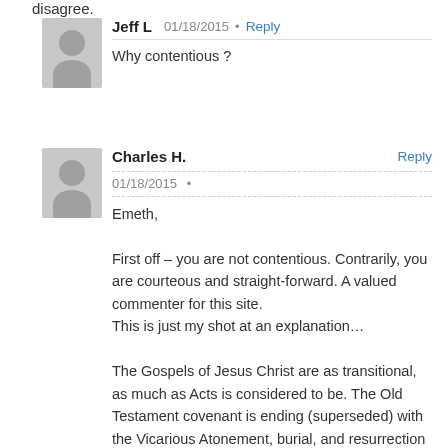disagree.
Jeff L   01/18/2015 • Reply
Why contentious ?
Charles H.   Reply
01/18/2015 •
Emeth,

First off – you are not contentious. Contrarily, you are courteous and straight-forward. A valued commenter for this site.
This is just my shot at an explanation…

The Gospels of Jesus Christ are as transitional, as much as Acts is considered to be. The Old Testament covenant is ending (superseded) with the Vicarious Atonement, burial, and resurrection